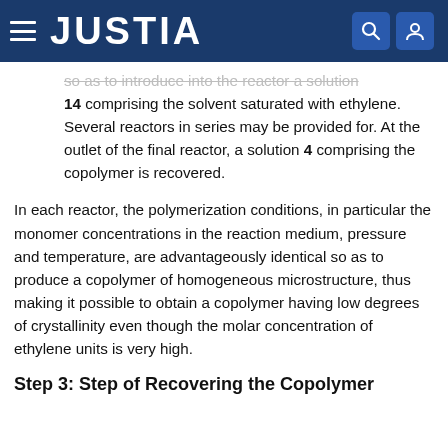JUSTIA
so as to introduce into the reactor a solution 14 comprising the solvent saturated with ethylene. Several reactors in series may be provided for. At the outlet of the final reactor, a solution 4 comprising the copolymer is recovered.
In each reactor, the polymerization conditions, in particular the monomer concentrations in the reaction medium, pressure and temperature, are advantageously identical so as to produce a copolymer of homogeneous microstructure, thus making it possible to obtain a copolymer having low degrees of crystallinity even though the molar concentration of ethylene units is very high.
Step 3: Step of Recovering the Copolymer